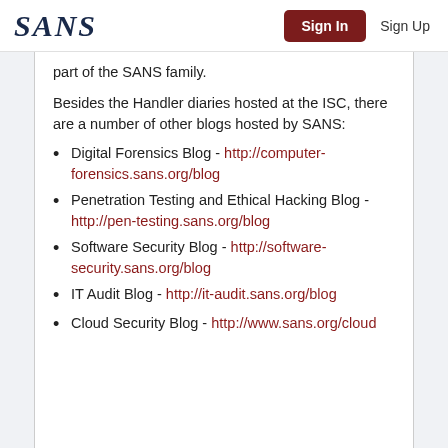SANS | Sign In | Sign Up
part of the SANS family.
Besides the Handler diaries hosted at the ISC, there are a number of other blogs hosted by SANS:
Digital Forensics Blog - http://computer-forensics.sans.org/blog
Penetration Testing and Ethical Hacking Blog - http://pen-testing.sans.org/blog
Software Security Blog - http://software-security.sans.org/blog
IT Audit Blog - http://it-audit.sans.org/blog
Cloud Security Blog - http://www.sans.org/cloud